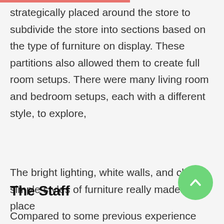strategically placed around the store to subdivide the store into sections based on the type of furniture on display. These partitions also allowed them to create full room setups. There were many living room and bedroom setups, each with a different style, to explore,
The bright lighting, white walls, and clean simple styles of furniture really made the place
The Staff
Compared to some previous experience we've